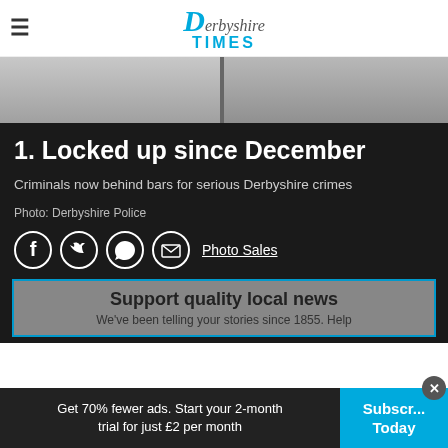Derbyshire Times
[Figure (photo): Two men's faces cropped at chin level, police mugshot style, side by side on grey background]
1. Locked up since December
Criminals now behind bars for serious Derbyshire crimes
Photo: Derbyshire Police
[Figure (infographic): Social sharing icons: Facebook, Twitter, WhatsApp, Email circles, and Photo Sales link]
Support quality local news
We've been telling your stories since 1855. Help
Get 70% fewer ads. Start your 2-month trial for just £2 per month
Subscribe Today